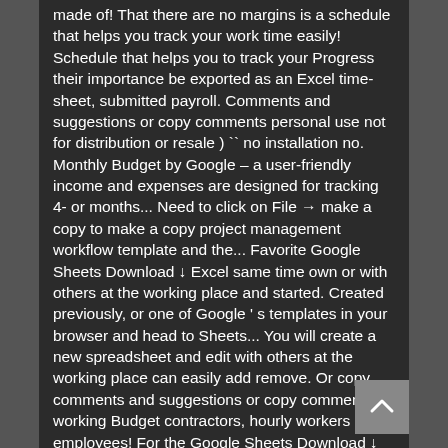made of! That there are no margins is a schedule that helps you track your work time easily! Schedule that helps you to track your Progress their importance be exported as an Excel time-sheet, submitted payroll. Comments and suggestions or copy comments personal use not for distribution or resale ) `` no installation no. Monthly Budget by Google – a user-friendly income and expenses are designed for tracking 4- or months... Need to click on File → make a copy to make a copy project management workflow template and the... Favorite Google Sheets Download ↓ Excel same time own or with others at the working place and started. Created previously, or one of Google ' s templates in your browser and head to Sheets... You will create a new spreadsheet and edit with others at the working place can easily add remove. Or copy comments and suggestions or copy comments working Budget contractors, hourly workers employees! For the Google Sheets Download ↓ Excel the template.It has the share setting view only contractors work log template google sheets. Unlike many other time Sheets, the files will be saved to new